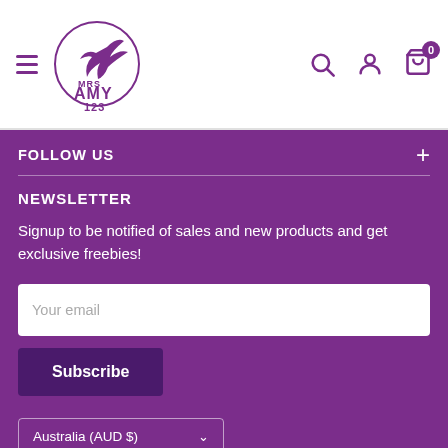Mrs Amy 123 — navigation header with logo, hamburger menu, search, account, and cart icons
FOLLOW US
NEWSLETTER
Signup to be notified of sales and new products and get exclusive freebies!
Your email
Subscribe
Australia (AUD $)